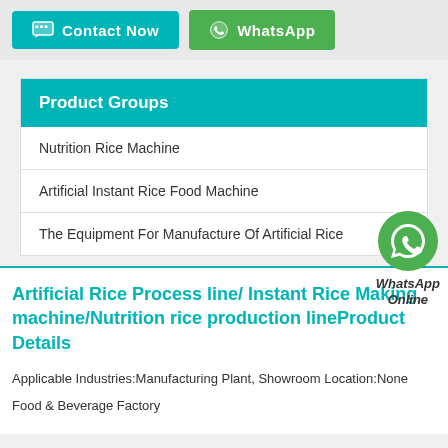[Figure (screenshot): Top navigation bar with 'Contact Now' button (teal) and 'WhatsApp' button (green)]
Product Groups
Nutrition Rice Machine
Artificial Instant Rice Food Machine
The Equipment For Manufacture Of Artificial Rice
[Figure (logo): WhatsApp Online green phone bubble icon with text 'WhatsApp Online']
Artificial Rice Process line/ Instant Rice Making machine/Nutrition rice production lineProduct Details
Applicable Industries:Manufacturing Plant,  Showroom Location:None
Food & Beverage Factory